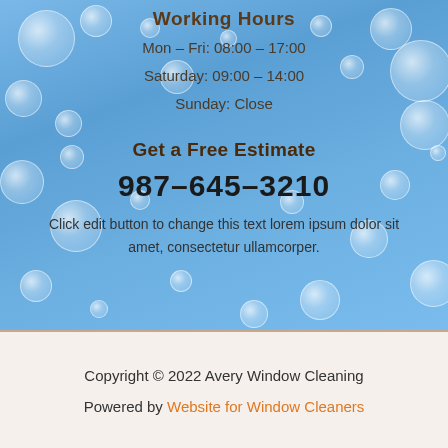Working Hours
Mon – Fri: 08:00 – 17:00
Saturday: 09:00 – 14:00
Sunday: Close
Get a Free Estimate
987–645–3210
Click edit button to change this text lorem ipsum dolor sit amet, consectetur ullamcorper.
Copyright © 2022 Avery Window Cleaning
Powered by Website for Window Cleaners